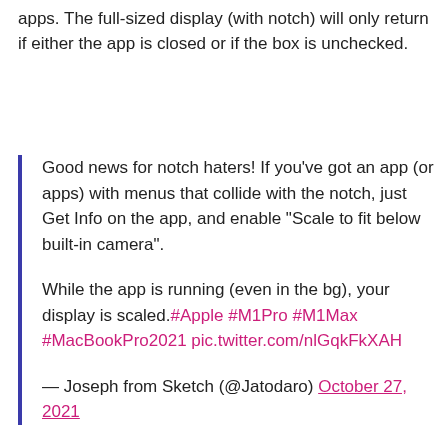apps. The full-sized display (with notch) will only return if either the app is closed or if the box is unchecked.
Good news for notch haters! If you've got an app (or apps) with menus that collide with the notch, just Get Info on the app, and enable "Scale to fit below built-in camera".

While the app is running (even in the bg), your display is scaled. #Apple #M1Pro #M1Max #MacBookPro2021 pic.twitter.com/nlGqkFkXAH

— Joseph from Sketch (@Jatodaro) October 27, 2021